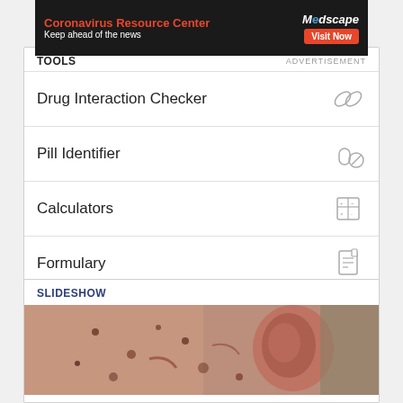[Figure (screenshot): Medscape Coronavirus Resource Center advertisement banner - red and black with 'Visit Now' button]
TOOLS
ADVERTISEMENT
Drug Interaction Checker
Pill Identifier
Calculators
Formulary
SLIDESHOW
[Figure (photo): Close-up medical photo of human ear with skin lesions/spots, appears to show herpes zoster or similar skin condition]